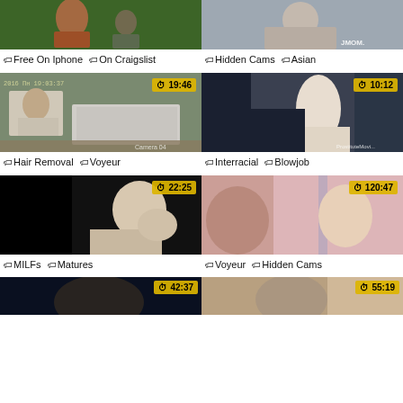[Figure (screenshot): Video thumbnail - outdoor scene with people]
Free On Iphone On Craigslist
[Figure (screenshot): Video thumbnail - bedroom hidden cam scene, duration 19:46]
Hair Removal Voyeur
[Figure (screenshot): Video thumbnail - JMOM hidden cam Asian, no duration shown]
Hidden Cams Asian
[Figure (screenshot): Video thumbnail - shop scene interracial, duration 10:12]
Interracial Blowjob
[Figure (screenshot): Video thumbnail - black background nude scene, duration 22:25]
MILFs Matures
[Figure (screenshot): Video thumbnail - hidden cam Asian girl, duration 120:47]
Voyeur Hidden Cams
[Figure (screenshot): Video thumbnail - dark scene partial, duration 42:37]
[Figure (screenshot): Video thumbnail - room scene partial, duration 55:19]